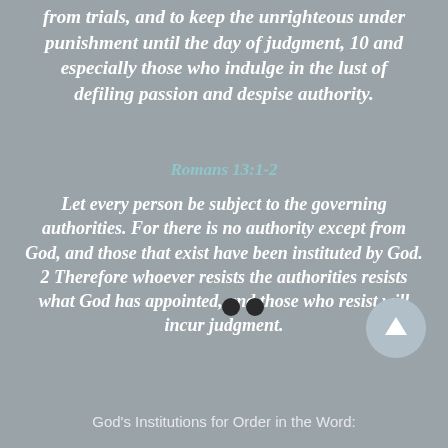from trials, and to keep the unrighteous under punishment until the day of judgment, 10 and especially those who indulge in the lust of defiling passion and despise authority.
Romans 13:1-2
Let every person be subject to the governing authorities. For there is no authority except from God, and those that exist have been instituted by God. 2 Therefore whoever resists the authorities resists what God has appointed, and those who resist will incur judgment.
God's Institutions for Order in the Word: